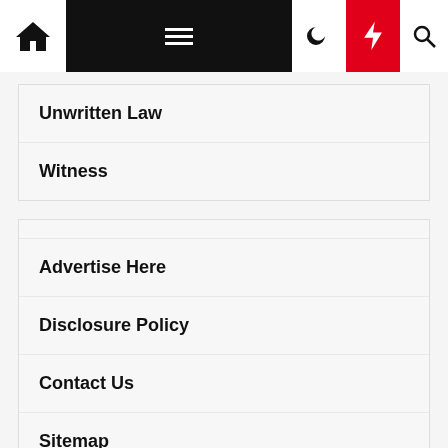Navigation bar with home, menu, moon, bolt, search icons
Unwritten Law
Witness
Advertise Here
Disclosure Policy
Contact Us
Sitemap